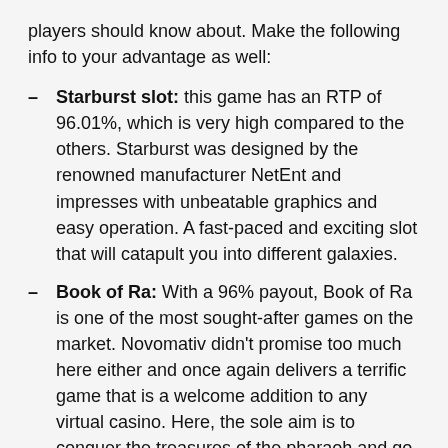players should know about. Make the following info to your advantage as well:
Starburst slot: this game has an RTP of 96.01%, which is very high compared to the others. Starburst was designed by the renowned manufacturer NetEnt and impresses with unbeatable graphics and easy operation. A fast-paced and exciting slot that will catapult you into different galaxies.
Book of Ra: With a 96% payout, Book of Ra is one of the most sought-after games on the market. Novomativ didn't promise too much here either and once again delivers a terrific game that is a welcome addition to any virtual casino. Here, the sole aim is to conquer the treasures of the pharaoh and go home with a lot of profit.
Sizzling Hot: This slot is also produced by the renowned provider Novomatic and has an RTP of